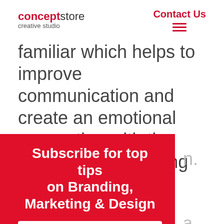conceptstore creative studio | Contact Us
familiar which helps to improve communication and create an emotional connection with the viewer, strengthening the brand
n.
[Figure (infographic): Red overlay panel with white bold text 'Subscribe for top tips on Branding, Marketing & Design' and a Name: input field at the bottom]
a is to and, a